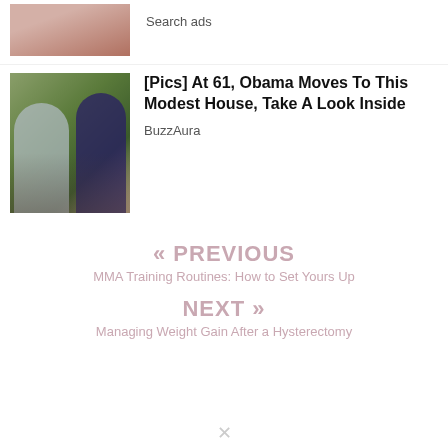[Figure (photo): Cropped photo of teeth/smile at top, partially visible]
Search ads
[Figure (photo): Photo of two people (man in sunglasses and woman in blue dress) outdoors with greenery background]
[Pics] At 61, Obama Moves To This Modest House, Take A Look Inside
BuzzAura
« PREVIOUS
MMA Training Routines: How to Set Yours Up
NEXT »
Managing Weight Gain After a Hysterectomy